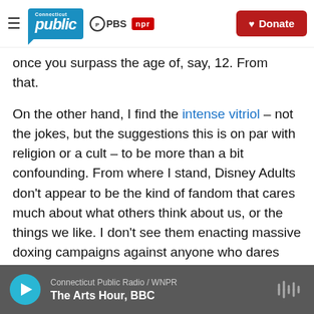Connecticut Public | PBS | NPR | Donate
once you surpass the age of, say, 12. From that.
On the other hand, I find the intense vitriol – not the jokes, but the suggestions this is on par with religion or a cult – to be more than a bit confounding. From where I stand, Disney Adults don't appear to be the kind of fandom that cares much about what others think about us, or the things we like. I don't see them enacting massive doxing campaigns against anyone who dares say a bad word about Encanto, like fans of certain pop stars or superhero movies. Maybe it's because I'm
Connecticut Public Radio / WNPR | The Arts Hour, BBC